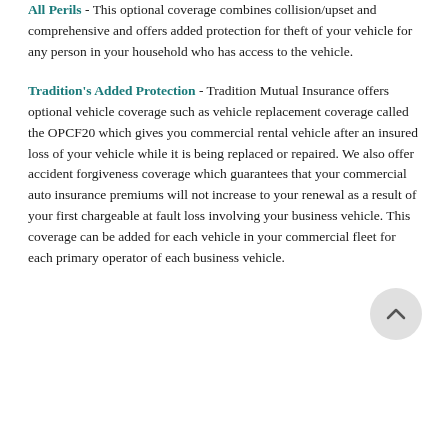All Perils – This optional coverage combines collision/upset and comprehensive and offers added protection for theft of your vehicle for any person in your household who has access to the vehicle.
Tradition's Added Protection – Tradition Mutual Insurance offers optional vehicle coverage such as vehicle replacement coverage called the OPCF20 which gives you commercial rental vehicle after an insured loss of your vehicle while it is being replaced or repaired. We also offer accident forgiveness coverage which guarantees that your commercial auto insurance premiums will not increase to your renewal as a result of your first chargeable at fault loss involving your business vehicle. This coverage can be added for each vehicle in your commercial fleet for each primary operator of each business vehicle.